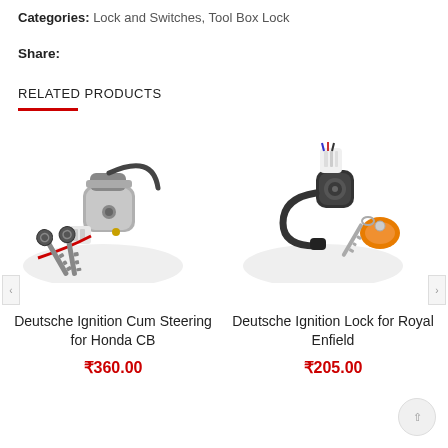Categories: Lock and Switches, Tool Box Lock
Share:
RELATED PRODUCTS
[Figure (photo): Deutsche Ignition Cum Steering Lock for Honda CB with two keys and red wiring connector]
Deutsche Ignition Cum Steering for Honda CB
₹360.00
[Figure (photo): Deutsche Ignition Lock for Royal Enfield with keys including orange keychain and wiring connector]
Deutsche Ignition Lock for Royal Enfield
₹205.00